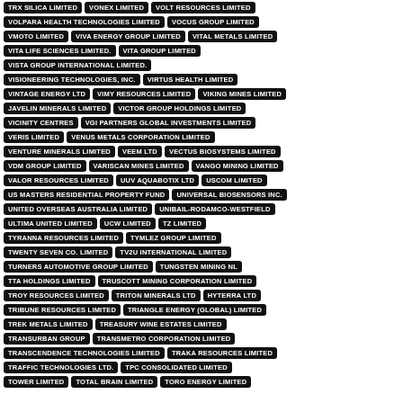TRX SILICA LIMITED
VONEX LIMITED
VOLT RESOURCES LIMITED
VOLPARA HEALTH TECHNOLOGIES LIMITED
VOCUS GROUP LIMITED
VMOTO LIMITED
VIVA ENERGY GROUP LIMITED
VITAL METALS LIMITED
VITA LIFE SCIENCES LIMITED.
VITA GROUP LIMITED
VISTA GROUP INTERNATIONAL LIMITED.
VISIONEERING TECHNOLOGIES, INC.
VIRTUS HEALTH LIMITED
VINTAGE ENERGY LTD
VIMY RESOURCES LIMITED
VIKING MINES LIMITED
JAVELIN MINERALS LIMITED
VICTOR GROUP HOLDINGS LIMITED
VICINITY CENTRES
VGI PARTNERS GLOBAL INVESTMENTS LIMITED
VERIS LIMITED
VENUS METALS CORPORATION LIMITED
VENTURE MINERALS LIMITED
VEEM LTD
VECTUS BIOSYSTEMS LIMITED
VDM GROUP LIMITED
VARISCAN MINES LIMITED
VANGO MINING LIMITED
VALOR RESOURCES LIMITED
UUV AQUABOTIX LTD
USCOM LIMITED
US MASTERS RESIDENTIAL PROPERTY FUND
UNIVERSAL BIOSENSORS INC.
UNITED OVERSEAS AUSTRALIA LIMITED
UNIBAIL-RODAMCO-WESTFIELD
ULTIMA UNITED LIMITED
UCW LIMITED
TZ LIMITED
TYRANNA RESOURCES LIMITED
TYMLEZ GROUP LIMITED
TWENTY SEVEN CO. LIMITED
TV2U INTERNATIONAL LIMITED
TURNERS AUTOMOTIVE GROUP LIMITED
TUNGSTEN MINING NL
TTA HOLDINGS LIMITED
TRUSCOTT MINING CORPORATION LIMITED
TROY RESOURCES LIMITED
TRITON MINERALS LTD
HYTERRA LTD
TRIBUNE RESOURCES LIMITED
TRIANGLE ENERGY (GLOBAL) LIMITED
TREK METALS LIMITED
TREASURY WINE ESTATES LIMITED
TRANSURBAN GROUP
TRANSMETRO CORPORATION LIMITED
TRANSCENDENCE TECHNOLOGIES LIMITED
TRAKA RESOURCES LIMITED
TRAFFIC TECHNOLOGIES LTD.
TPC CONSOLIDATED LIMITED
TOWER LIMITED
TOTAL BRAIN LIMITED
TORO ENERGY LIMITED